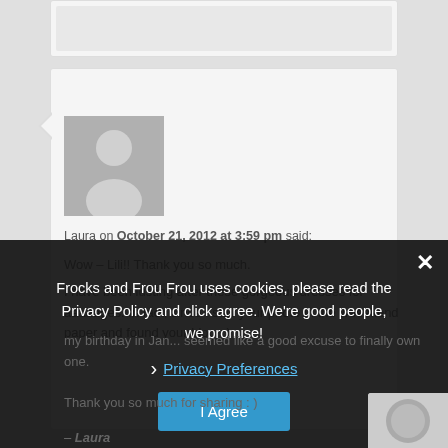[Figure (photo): Partial top comment box visible at top of page]
[Figure (photo): User avatar silhouette (gray placeholder person icon)]
Laura on October 21, 2012 at 3:59 pm said:
Wow – Lili!! Thank you so much.
I have been lusting after these gorgeous dresses for aaaaages. In fact, since I saw your photo in the weeekend paper and found your blog : )
my birthday in Jan... seemed like a good excuse to finally own one.
Thank you so much for sharing : )
– Laura
Frocks and Frou Frou uses cookies, please read the Privacy Policy and click agree. We're good people, we promise!
Privacy Preferences
I Agree